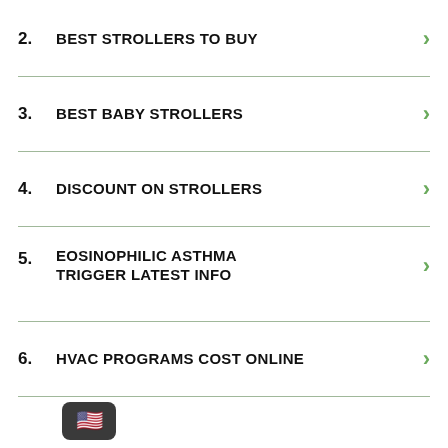2.  BEST STROLLERS TO BUY
3.  BEST BABY STROLLERS
4.  DISCOUNT ON STROLLERS
5.  EOSINOPHILIC ASTHMA TRIGGER LATEST INFO
6.  HVAC PROGRAMS COST ONLINE
[Figure (illustration): Dark rounded rectangle icon with US flag emoji inside, at bottom left of page]